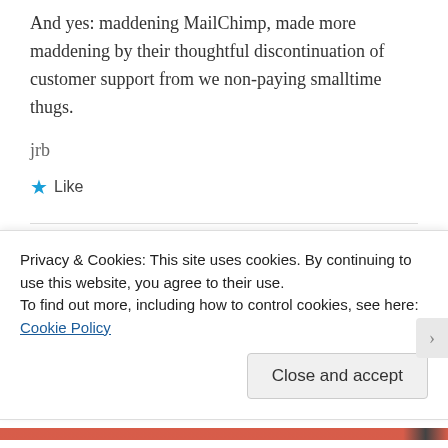And yes: maddening MailChimp, made more maddening by their thoughtful discontinuation of customer support from we non-paying smalltime thugs.
jrb
★ Like
[Figure (logo): joncarrollprose avatar icon — teal/green geometric diamond pattern logo with mountain silhouette]
joncarrollprose
MARCH 24, 2016 AT 3:09 AM
Privacy & Cookies: This site uses cookies. By continuing to use this website, you agree to their use.
To find out more, including how to control cookies, see here: Cookie Policy
Close and accept